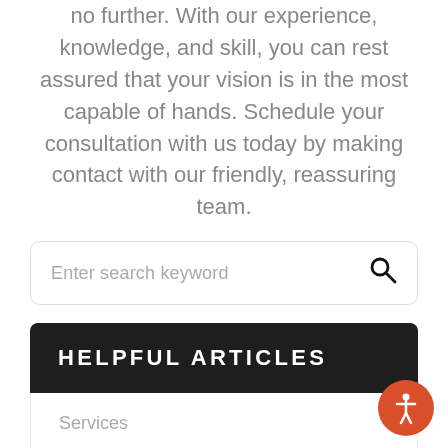no further. With our experience, knowledge, and skill, you can rest assured that your vision is in the most capable of hands. Schedule your consultation with us today by making contact with our friendly, reassuring team.
[Figure (other): Search bar with placeholder text 'Enter search keyword' and a magnifying glass icon on the right]
HELPFUL ARTICLES
Services